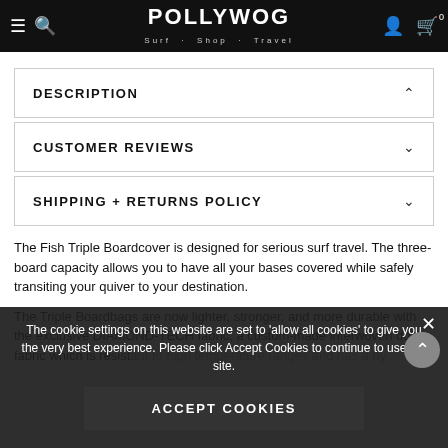POLLYWOG Surf · Shop · Travel
DESCRIPTION
CUSTOMER REVIEWS
SHIPPING + RETURNS POLICY
The Fish Triple Boardcover is designed for serious surf travel. The three-board capacity allows you to have all your bases covered while safely transiting your quiver to your destination.
The Triple Boardbags are now lighter, stronger, and more durable with the exclusive DIAMOND-TECH fabric, a custom-made interwoven dobby fabric which is resistant to high temperature ranges and has a hy...
The cookie settings on this website are set to 'allow all cookies' to give you the very best experience. Please click Accept Cookies to continue to use the site.
ACCEPT COOKIES
The Triple covers come with the Modular packing system – exclusive to